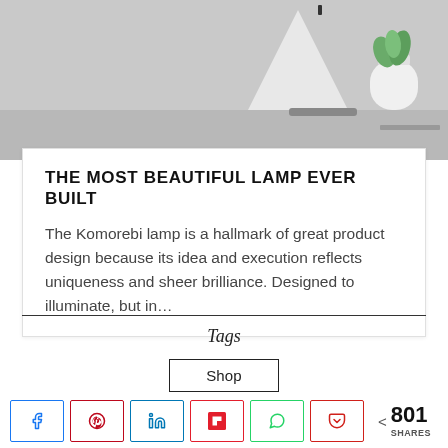[Figure (photo): Photo of a Komorebi lamp on a desk with a small plant in a white pot, gray background]
THE MOST BEAUTIFUL LAMP EVER BUILT
The Komorebi lamp is a hallmark of great product design because its idea and execution reflects uniqueness and sheer brilliance. Designed to illuminate, but in…
Tags
Shop
< 801 SHARES (social share buttons: Facebook, Pinterest, LinkedIn, Flipboard, WhatsApp, Pocket)